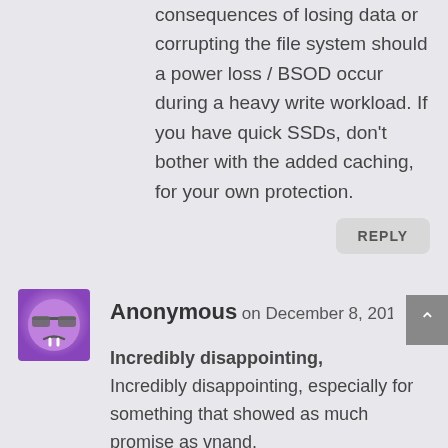consequences of losing data or corrupting the file system should a power loss / BSOD occur during a heavy write workload. If you have quick SSDs, don't bother with the added caching, for your own protection.
REPLY
Anonymous on December 8, 2014 at 7:01 pm
Incredibly disappointing,
Incredibly disappointing, especially for something that showed as much promise as vnand.